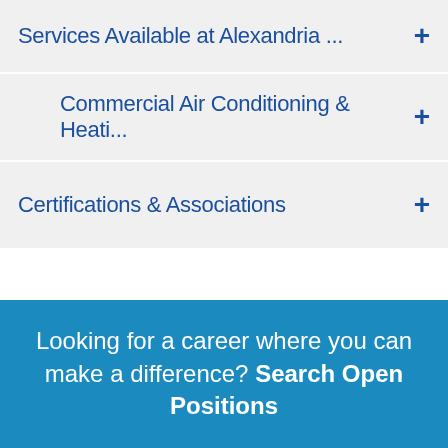Services Available at Alexandria ... +
Commercial Air Conditioning & Heati... +
Certifications & Associations +
Looking for a career where you can make a difference? Search Open Positions